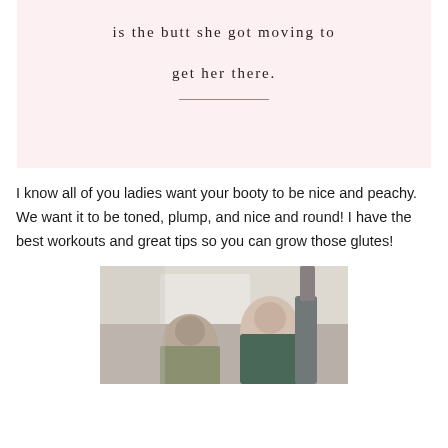is the butt she got moving to get her there.
[Figure (photo): Two women in a gym, one with dark hair smiling at the camera, photographed in what appears to be a fitness facility with gym equipment visible in the background.]
I know all of you ladies want your booty to be nice and peachy. We want it to be toned, plump, and nice and round! I have the best workouts and great tips so you can grow those glutes!